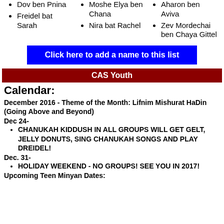Dov ben Pnina
Freidel bat Sarah
Aharon ben Aviva
Moshe Elya ben Chana
Nira bat Rachel
Zev Mordechai ben Chaya Gittel
Click here to add a name to this list
CAS Youth
Calendar:
December 2016 - Theme of the Month: Lifnim Mishurat HaDin (Going Above and Beyond)
Dec 24-
CHANUKAH KIDDUSH IN ALL GROUPS WILL GET GELT, JELLY DONUTS, SING CHANUKAH SONGS AND PLAY DREIDEL!
Dec. 31-
HOLIDAY WEEKEND - NO GROUPS! SEE YOU IN 2017!
Upcoming Teen Minyan Dates: